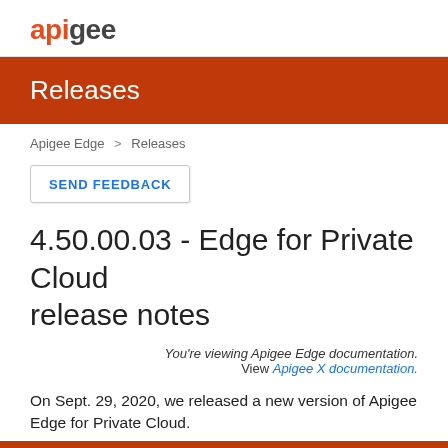apigee
Releases
Apigee Edge > Releases
SEND FEEDBACK
4.50.00.03 - Edge for Private Cloud release notes
You're viewing Apigee Edge documentation. View Apigee X documentation.
On Sept. 29, 2020, we released a new version of Apigee Edge for Private Cloud.